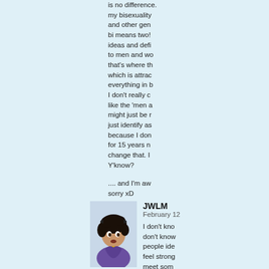is no difference. my bisexuality and other gen bi means two! ideas and defi to men and w that's where t which is attrac everything in b I don't really c like the 'men a might just be r just identify as because I don for 15 years n change that. I Y'know?
.... and I'm aw sorry xD
JWLM February 12
[Figure (illustration): Cartoon avatar of a person with dark curly hair, tan skin, wearing a purple jacket and yellow necklace]
I don't kno don't know people ide feel strong meet som to explain not worryin